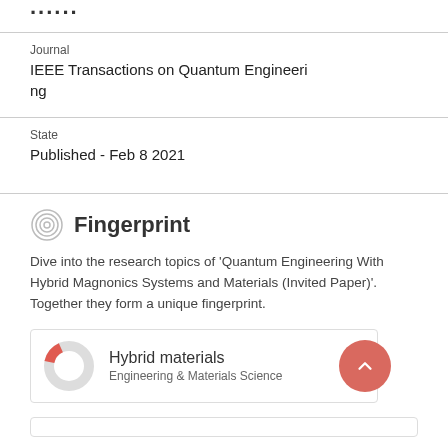Journal
IEEE Transactions on Quantum Engineering
State
Published - Feb 8 2021
Fingerprint
Dive into the research topics of 'Quantum Engineering With Hybrid Magnonics Systems and Materials (Invited Paper)'. Together they form a unique fingerprint.
Hybrid materials
Engineering & Materials Science